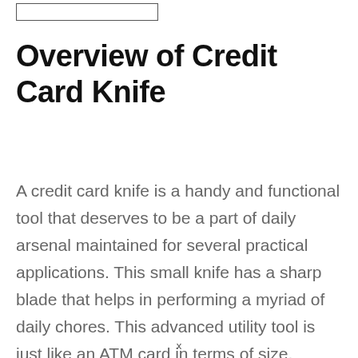Overview of Credit Card Knife
A credit card knife is a handy and functional tool that deserves to be a part of daily arsenal maintained for several practical applications. This small knife has a sharp blade that helps in performing a myriad of daily chores. This advanced utility tool is just like an ATM card in terms of size.